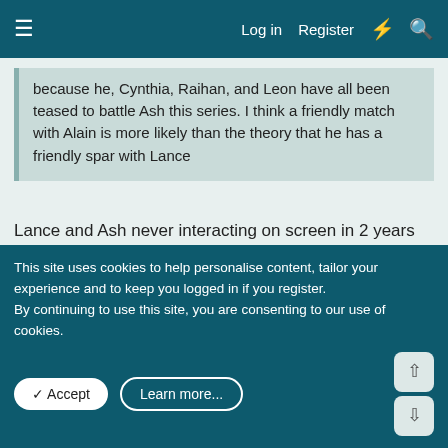≡  Log in  Register
because he, Cynthia, Raihan, and Leon have all been teased to battle Ash this series. I think a friendly match with Alain is more likely than the theory that he has a friendly spar with Lance
Lance and Ash never interacting on screen in 2 years worth of time makes me doubt it. They didn't really build up anything between them or promise each other they would battle. Notice how Raihan took notice of Ash in the Opal episode setting up his interest in him
↩ Reply
Broseph08
Member
This site uses cookies to help personalise content, tailor your experience and to keep you logged in if you register.
By continuing to use this site, you are consenting to our use of cookies.
✓ Accept    Learn more...